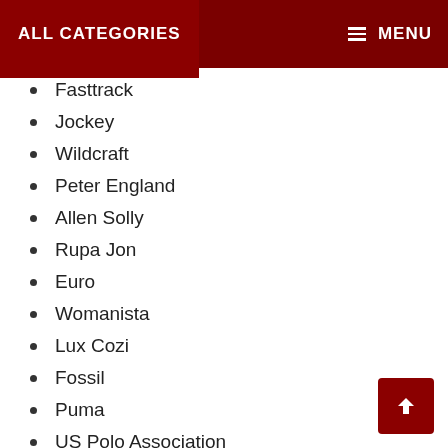ALL CATEGORIES   MENU
Fasttrack
Jockey
Wildcraft
Peter England
Allen Solly
Rupa Jon
Euro
Womanista
Lux Cozi
Fossil
Puma
US Polo Association
Chromozome
TIMEX